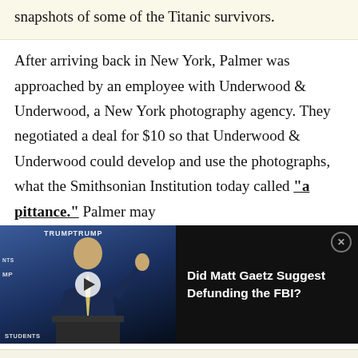snapshots of some of the Titanic survivors.
After arriving back in New York, Palmer was approached by an employee with Underwood & Underwood, a New York photography agency. They negotiated a deal for $10 so that Underwood & Underwood could develop and use the photographs, what the Smithsonian Institution today called “a pittance.” Palmer may
[Figure (screenshot): Embedded video player overlay showing a person at a podium with Trump campaign signage in the background (left panel), and a dark right panel with text 'Did Matt Gaetz Suggest Defunding the FBI?' and a close button.]
Institution’s website.